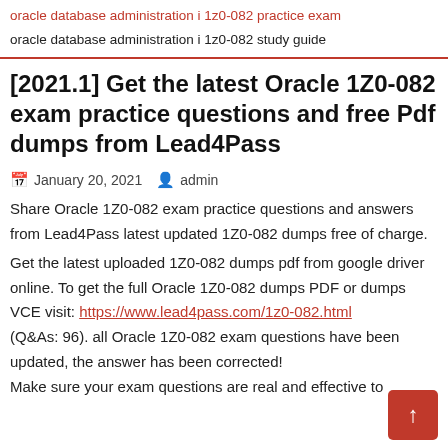oracle database administration i 1z0-082 practice exam
oracle database administration i 1z0-082 study guide
[2021.1] Get the latest Oracle 1Z0-082 exam practice questions and free Pdf dumps from Lead4Pass
January 20, 2021   admin
Share Oracle 1Z0-082 exam practice questions and answers from Lead4Pass latest updated 1Z0-082 dumps free of charge.
Get the latest uploaded 1Z0-082 dumps pdf from google driver online. To get the full Oracle 1Z0-082 dumps PDF or dumps
VCE visit: https://www.lead4pass.com/1z0-082.html
(Q&As: 96). all Oracle 1Z0-082 exam questions have been updated, the answer has been corrected!
Make sure your exam questions are real and effective to